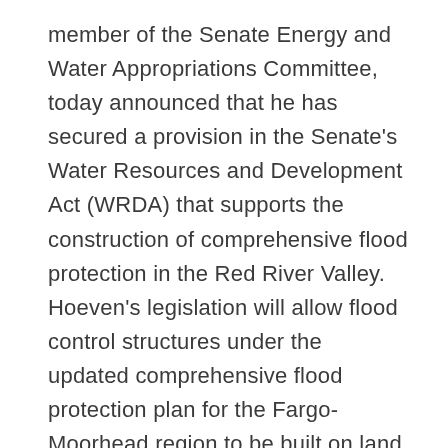member of the Senate Energy and Water Appropriations Committee, today announced that he has secured a provision in the Senate's Water Resources and Development Act (WRDA) that supports the construction of comprehensive flood protection in the Red River Valley. Hoeven's legislation will allow flood control structures under the updated comprehensive flood protection plan for the Fargo-Moorhead region to be built on land purchased with Hazard Mitigation Grant Pro… Continue Reading